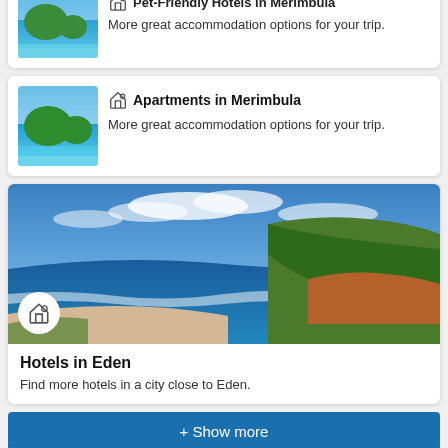[Figure (screenshot): Partial card showing Pet-Friendly Hotels in Merimbula with thumbnail of beach/ocean image and text 'More great accommodation options for your trip.']
[Figure (screenshot): Card showing Apartments in Merimbula with thumbnail of beach/ocean image and text 'More great accommodation options for your trip.']
[Figure (photo): Large scenic coastal photo showing beach, blue ocean, waves, red/orange cliffs on right, green vegetation under blue sky with clouds]
Hotels in Eden
Find more hotels in a city close to Eden.
+ Show more